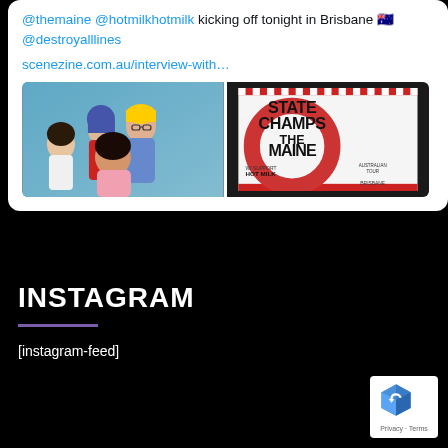[Figure (screenshot): Twitter/X post screenshot showing tweet text with @themaine @hotmilkhotmilk mentions kicking off tonight in Brisbane with Australian flag emoji and @destroyalllines, a link to scenezine.com.au/interview-with…, and two images: a band photo on the left and a concert poster on the right for State Champs / The Maine / Hot Milk Australian Tour.]
INSTAGRAM
[instagram-feed]